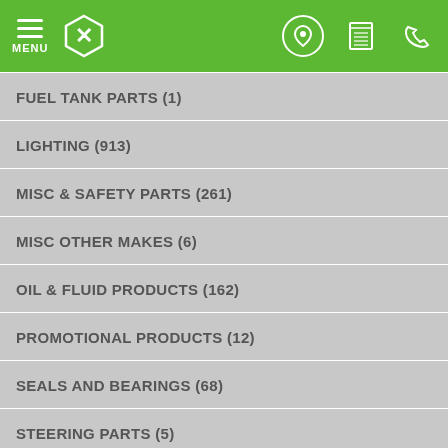MENU [logo] [location icon] [catalog icon] [phone icon]
FUEL TANK PARTS (1)
LIGHTING (913)
MISC & SAFETY PARTS (261)
MISC OTHER MAKES (6)
OIL & FLUID PRODUCTS (162)
PROMOTIONAL PRODUCTS (12)
SEALS AND BEARINGS (68)
STEERING PARTS (5)
SUSPENSION PARTS (328)
TAILGATE LOADERS (22)
TOOLS & EQUIPMENT (29)
TRAILER DOORS & HINGES (6)
TRAILER FLOORING (0)
TRAILER SHEET & ANGLE METAL (14)